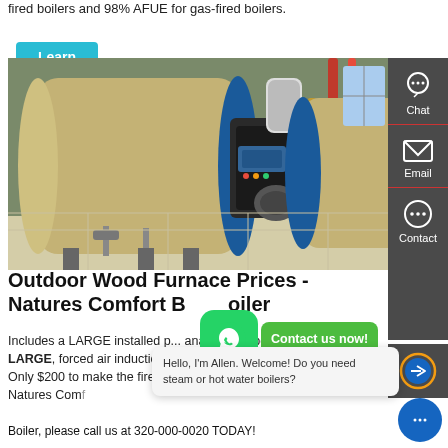fired boilers and 98% AFUE for gas-fired boilers.
Learn More
[Figure (photo): Industrial gas-fired boilers in a factory setting. Two large horizontal cylindrical boilers with blue end caps and burner assemblies, pipes and equipment visible in background.]
Outdoor Wood Furnace Prices - Natures Comfort Boiler
Includes a LARGE installed p... and... set of ports, and a VERY LARGE, forced air induction fan with damper. (saves you wood)! Only $200 to make the firebox 50% thicker at 3/8" THICK! Buy a Natures Comfort Boiler, please call us at 320-000-0020 TODAY!
[Figure (other): WhatsApp contact button with green icon and 'Contact us now!' green button]
Hello, I'm Allen. Welcome! Do you need steam or hot water boilers?